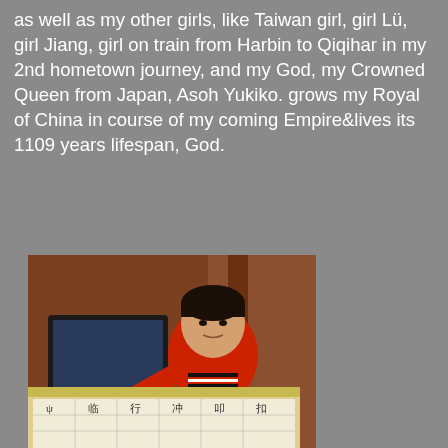as well as my other girls, like Taiwan girl, girl Lü, girl Jiang, girl on train from Harbin to Qiqihar in my 2nd hometown journey, and my God, my Crowned Queen from Japan, Asoh Yukiko. grows my Royal of China in course of my coming Empire&lives its 1109 years lifespan, God.
[Figure (photo): A young Asian boy wearing a red sweater with black and white stripes, sitting at a desk using a laptop/computer. Wooden furniture visible in background.]
From Spring 2011 in a nut
[Figure (photo): Partial view of a paper or notebook with Chinese characters/handwriting visible, on a light-colored surface.]